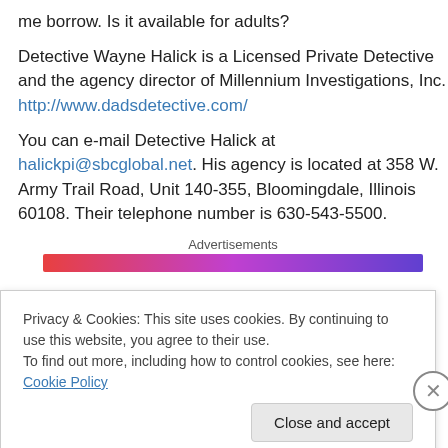me borrow. Is it available for adults?
Detective Wayne Halick is a Licensed Private Detective and the agency director of Millennium Investigations, Inc. http://www.dadsdetective.com/
You can e-mail Detective Halick at halickpi@sbcglobal.net. His agency is located at 358 W. Army Trail Road, Unit 140-355, Bloomingdale, Illinois 60108. Their telephone number is 630-543-5500.
Advertisements
Privacy & Cookies: This site uses cookies. By continuing to use this website, you agree to their use. To find out more, including how to control cookies, see here: Cookie Policy
Close and accept